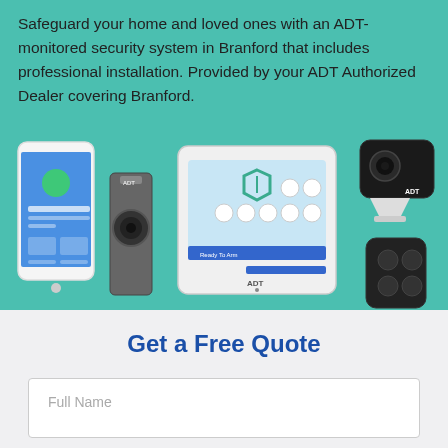Safeguard your home and loved ones with an ADT-monitored security system in Branford that includes professional installation. Provided by your ADT Authorized Dealer covering Branford.
[Figure (illustration): ADT home security product lineup on teal background: smartphone app, doorbell camera, touchscreen control panel, indoor camera on stand, and key fob remote control.]
Get a Free Quote
Full Name